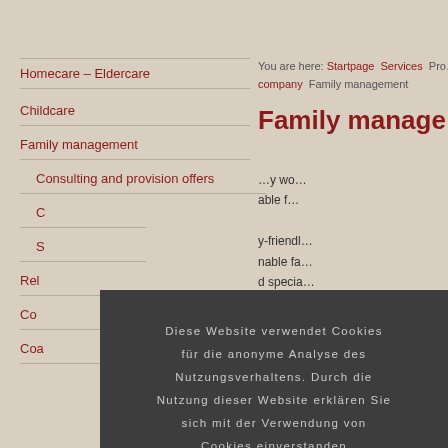Homecare – Eldercare
Childcare
Family management
Consulting and provision offers
C…
S…
Rel…
Co…
Coa…
You are here: Startpage  Services  Pro… company  Family management
Family manage…
…y wo… able f… y-friendl… nable fa… d specia… opotentia… coordina…
…tance se… care and…
Diese Website verwendet Cookies für die anonyme Analyse des Nutzungsverhaltens. Durch die Nutzung dieser Website erklären Sie sich mit der Verwendung von Cookies einverstanden
Ja, Ich stimme zu